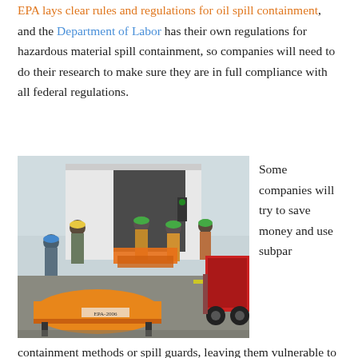EPA lays clear rules and regulations for oil spill containment, and the Department of Labor has their own regulations for hazardous material spill containment, so companies will need to do their research to make sure they are in full compliance with all federal regulations.
[Figure (photo): Workers in hard hats and safety vests unloading large orange spill containment booms from a truck trailer onto a flatbed cart on a road, with a red tanker truck visible in the background.]
Some companies will try to save money and use subpar containment methods or spill guards, leaving them vulnerable to lawsuits and penalties from the federal government. These containment